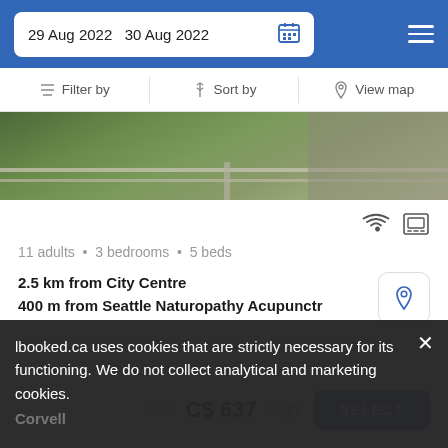29 Aug 2022  30 Aug 2022
Filter by  Sort by  View map
[Figure (photo): Outdoor deck/terrace with green foliage and railing, partial view]
11 adults • 3 bedrooms • 5 beds
2.5 km from City Centre
400 m from Seattle Naturopathy Acupunctr
Set 3.4 km from Pike Place Market, this property features 3 bedrooms and a terrace with a seating area and a shower.
from  C$ 637/night  SELECT
lbooked.ca uses cookies that are strictly necessary for its functioning. We do not collect analytical and marketing cookies.